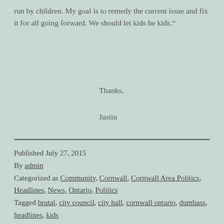run by children. My goal is to remedy the current issue and fix it for all going forward. We should let kids be kids."
Thanks,
Justin
Published July 27, 2015
By admin
Categorized as Community, Cornwall, Cornwall Area Politics, Headlines, News, Ontario, Politics
Tagged brutal, city council, city hall, cornwall ontario, dumbass, headlines, kids